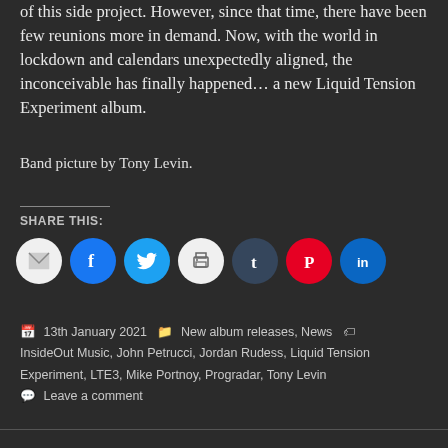of this side project. However, since that time, there have been few reunions more in demand. Now, with the world in lockdown and calendars unexpectedly aligned, the inconceivable has finally happened… a new Liquid Tension Experiment album.
Band picture by Tony Levin.
SHARE THIS:
[Figure (other): Row of social media share icon buttons: Email, Facebook, Twitter, Print, Tumblr, Pinterest, LinkedIn]
13th January 2021  Categories: New album releases, News  Tags: InsideOut Music, John Petrucci, Jordan Rudess, Liquid Tension Experiment, LTE3, Mike Portnoy, Progradar, Tony Levin  Leave a comment